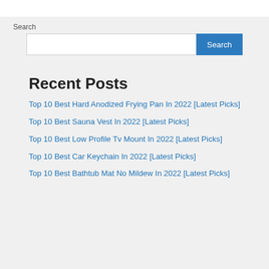Search
Search
Recent Posts
Top 10 Best Hard Anodized Frying Pan In 2022 [Latest Picks]
Top 10 Best Sauna Vest In 2022 [Latest Picks]
Top 10 Best Low Profile Tv Mount In 2022 [Latest Picks]
Top 10 Best Car Keychain In 2022 [Latest Picks]
Top 10 Best Bathtub Mat No Mildew In 2022 [Latest Picks]